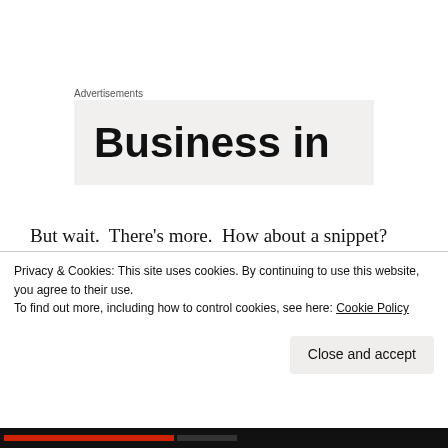Advertisements
[Figure (other): Advertisement banner with large bold text 'Business in' on a light gray background]
But wait.  There's more.  How about a snippet?  You've got it!  Logan Latimar, a warlock, and ex Navy SEAL is confronted with what he hopes is a vision.  Reality has fingers as cold as ice though, and he needs solace.  Check out this steamy scene in the Louisiana heat.  Hugs and Happy Friday!
Privacy & Cookies: This site uses cookies. By continuing to use this website, you agree to their use.
To find out more, including how to control cookies, see here: Cookie Policy
Close and accept